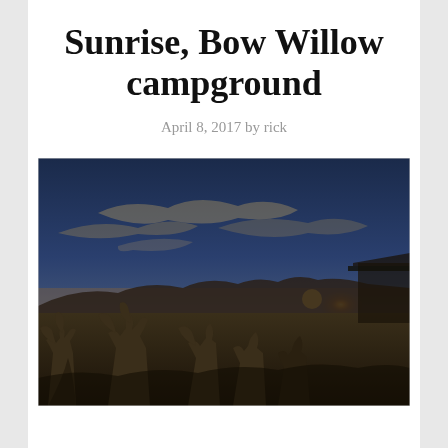Sunrise, Bow Willow campground
April 8, 2017 by rick
[Figure (photo): Landscape photo of sunrise at Bow Willow campground showing desert scene with cholla cacti in the foreground, a glowing sun on the horizon, wispy clouds in a deep blue sky, and a partial view of a shelter structure on the right]